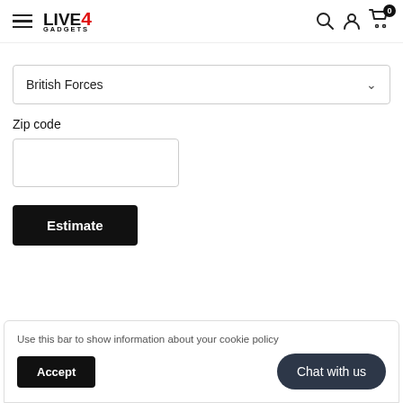[Figure (logo): Live4Gadgets logo with hamburger menu icon on the left, and search, user account, and cart icons on the right]
British Forces
Zip code
Estimate
Use this bar to show information about your cookie policy
Accept
Chat with us